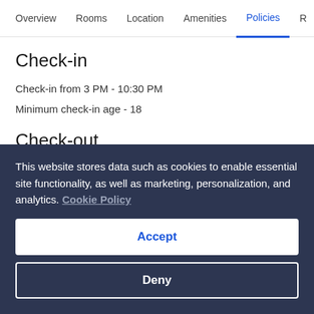Overview  Rooms  Location  Amenities  Policies  R
Check-in
Check-in from 3 PM - 10:30 PM
Minimum check-in age - 18
Check-out
Check-out before 11 AM
Special check-in instructions
This website stores data such as cookies to enable essential site functionality, as well as marketing, personalization, and analytics. Cookie Policy
Accept
Deny